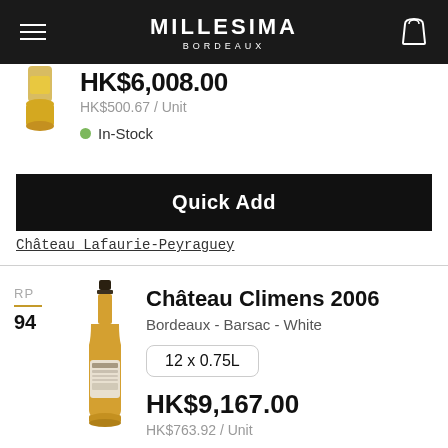MILLESIMA BORDEAUX
HK$6,008.00
HK$500.67 / Unit
In-Stock
Quick Add
Château Lafaurie-Peyraguey
RP 94
Château Climens 2006
Bordeaux - Barsac - White
12 x 0.75L
HK$9,167.00
HK$763.92 / Unit
In-Stock